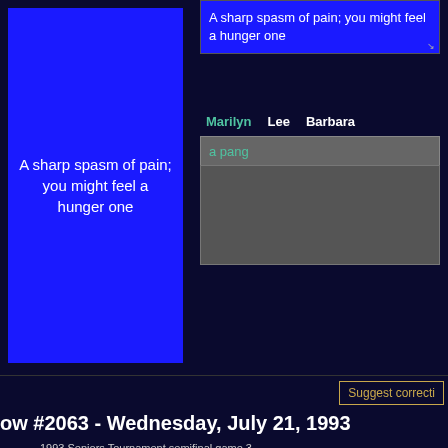[Figure (screenshot): Blue Jeopardy clue card showing text 'A sharp spasm of pain; you might feel a hunger one']
A sharp spasm of pain; you might feel a hunger one
Marilyn   Lee   Barbara
a pang
Suggest correcti
ow #2063 - Wednesday, July 21, 1993
1993 Seniors Tournament semifinal game 3.